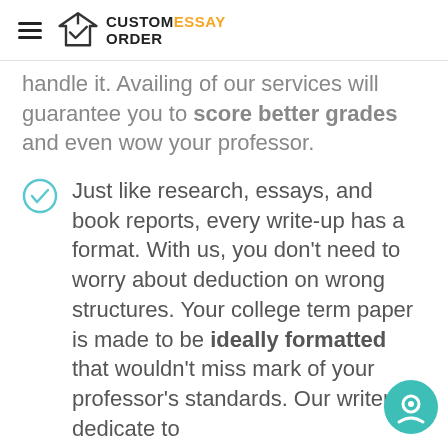CUSTOMESSAY ORDER
handle it. Availing of our services will guarantee you to score better grades and even wow your professor.
Just like research, essays, and book reports, every write-up has a format. With us, you don't need to worry about deduction on wrong structures. Your college term paper is made to be ideally formatted that wouldn't miss mark of your professor's standards. Our writers dedicate to